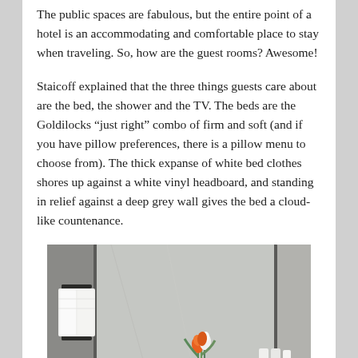The public spaces are fabulous, but the entire point of a hotel is an accommodating and comfortable place to stay when traveling. So, how are the guest rooms? Awesome!
Staicoff explained that the three things guests care about are the bed, the shower and the TV. The beds are the Goldilocks “just right” combo of firm and soft (and if you have pillow preferences, there is a pillow menu to choose from). The thick expanse of white bed clothes shores up against a white vinyl headboard, and standing in relief against a deep grey wall gives the bed a cloud-like countenance.
[Figure (photo): Hotel bathroom photo showing a glass sink counter, chrome faucet, large mirror, white towels on a rack, a glass vase with orange and white tulips, toiletry bottles, and grey marble tile walls.]